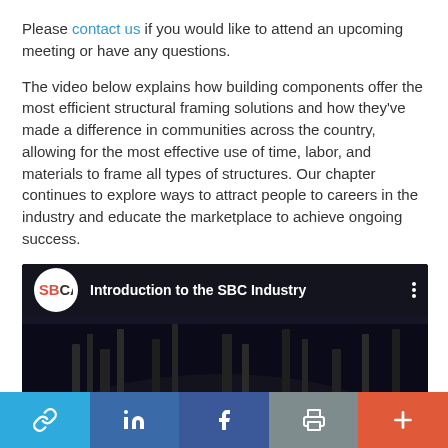Please contact us if you would like to attend an upcoming meeting or have any questions.
The video below explains how building components offer the most efficient structural framing solutions and how they've made a difference in communities across the country, allowing for the most effective use of time, labor, and materials to frame all types of structures. Our chapter continues to explore ways to attract people to careers in the industry and educate the marketplace to achieve ongoing success.
[Figure (screenshot): YouTube video thumbnail showing SBCA logo and title 'Introduction to the SBC Industry' on a dark background with trees visible.]
Social share bar with link, LinkedIn, Facebook, print, and plus buttons